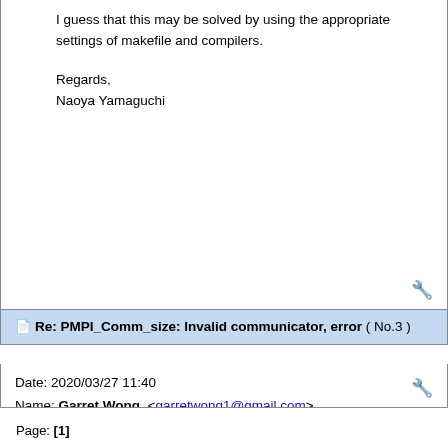I guess that this may be solved by using the appropriate settings of makefile and compilers.

Regards,
Naoya Yamaguchi
Re: PMPI_Comm_size: Invalid communicator, error ( No.3 )
Date: 2020/03/27 11:40
Name: Garret Wong <garretwong1@gmail.com>
Thanks a lot.

I have solved this problem by modifying -lmkl_blacs_lp64 to -lmkl_blacs_intelmpi_lp64

Regards,
GW
Page: [1]